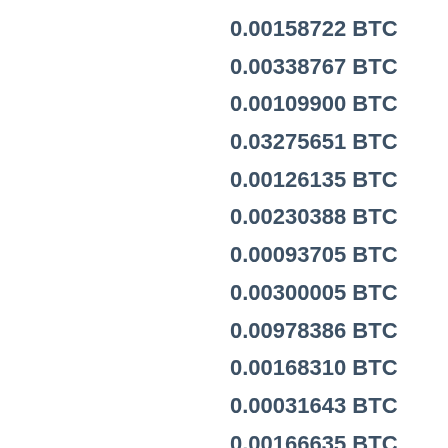0.00158722 BTC
0.00338767 BTC
0.00109900 BTC
0.03275651 BTC
0.00126135 BTC
0.00230388 BTC
0.00093705 BTC
0.00300005 BTC
0.00978386 BTC
0.00168310 BTC
0.00031643 BTC
0.00166635 BTC
0.02750057 BTC
0.00076648 BTC
0.00416548 BTC
0.00219876 BTC